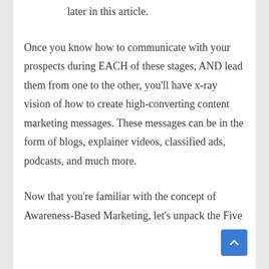later in this article.
Once you know how to communicate with your prospects during EACH of these stages, AND lead them from one to the other, you'll have x-ray vision of how to create high-converting content marketing messages. These messages can be in the form of blogs, explainer videos, classified ads, podcasts, and much more.
Now that you're familiar with the concept of Awareness-Based Marketing, let's unpack the Five